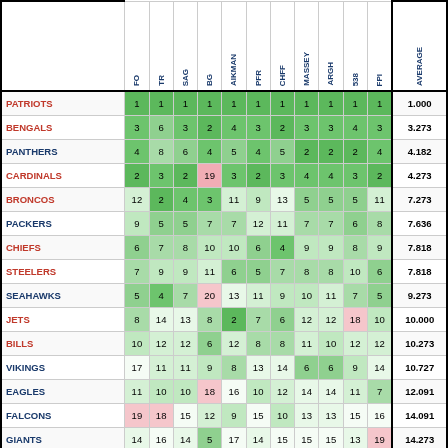|  | FO | TR | SAG | BG | AIKMAN | PFR | CHFF | MASSEY | ARGH | 538 | FPI | AVERAGE |
| --- | --- | --- | --- | --- | --- | --- | --- | --- | --- | --- | --- | --- |
| PATRIOTS | 1 | 1 | 1 | 1 | 1 | 1 | 1 | 1 | 1 | 1 | 1 | 1.000 |
| BENGALS | 3 | 6 | 3 | 2 | 4 | 3 | 2 | 3 | 3 | 4 | 3 | 3.273 |
| PANTHERS | 4 | 8 | 6 | 4 | 5 | 4 | 5 | 2 | 2 | 2 | 4 | 4.182 |
| CARDINALS | 2 | 3 | 2 | 19 | 3 | 2 | 3 | 4 | 4 | 3 | 2 | 4.273 |
| BRONCOS | 12 | 2 | 4 | 3 | 11 | 9 | 13 | 5 | 5 | 5 | 11 | 7.273 |
| PACKERS | 9 | 5 | 5 | 7 | 7 | 12 | 11 | 7 | 7 | 6 | 8 | 7.636 |
| CHIEFS | 6 | 7 | 8 | 10 | 10 | 6 | 4 | 9 | 9 | 8 | 9 | 7.818 |
| STEELERS | 7 | 9 | 9 | 11 | 6 | 5 | 7 | 8 | 8 | 10 | 6 | 7.818 |
| SEAHAWKS | 5 | 4 | 7 | 20 | 13 | 11 | 9 | 10 | 11 | 7 | 5 | 9.273 |
| JETS | 8 | 14 | 13 | 8 | 2 | 7 | 6 | 12 | 12 | 18 | 10 | 10.000 |
| BILLS | 10 | 12 | 12 | 6 | 12 | 8 | 8 | 11 | 10 | 12 | 12 | 10.273 |
| VIKINGS | 17 | 11 | 11 | 9 | 8 | 13 | 14 | 6 | 6 | 9 | 14 | 10.727 |
| EAGLES | 11 | 10 | 10 | 18 | 16 | 10 | 12 | 14 | 14 | 11 | 7 | 12.091 |
| FALCONS | 19 | 18 | 15 | 12 | 9 | 15 | 10 | 13 | 13 | 15 | 16 | 14.091 |
| GIANTS | 14 | 16 | 14 | 5 | 17 | 14 | 15 | 15 | 15 | 13 | 19 | 14.273 |
| COLTS | 21 | 13 | 16 | 16 | 25 | 20 | 24 | 17 | 16 | 14 | 15 | 17.909 |
| REDSKINS | 15 | 25 | 20 | 14 | 14 | 16 | 18 | 22 | 17 | 28 | 21 | 19.091 |